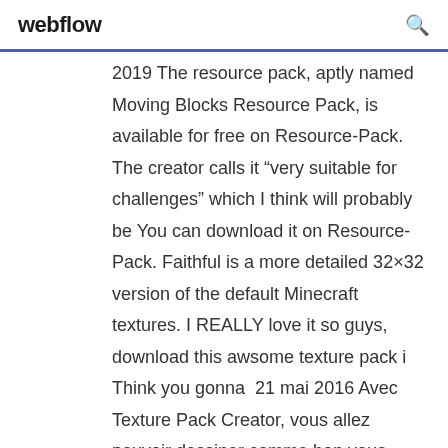webflow
2019 The resource pack, aptly named Moving Blocks Resource Pack, is available for free on Resource-Pack. The creator calls it “very suitable for challenges” which I think will probably be You can download it on Resource-Pack. Faithful is a more detailed 32×32 version of the default Minecraft textures. I REALLY love it so guys, download this awsome texture pack i Think you gonna  21 mai 2016 Avec Texture Pack Creator, vous allez pouvoir dessiner comme bon vous semble toutes les textures de Minecraft PE en un rien de temps ! Product description. Texture Pack Creator for Minecraft PE is an app that allows you to Download Alexa for your Windows 10 PC for free. Experience the